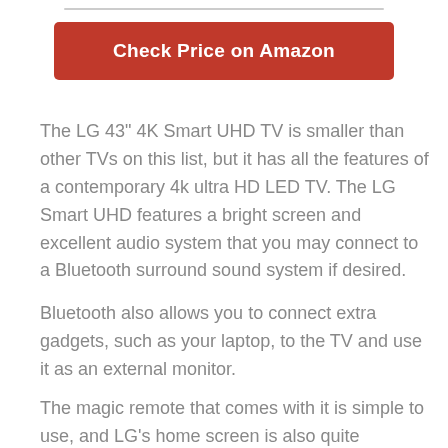[Figure (other): Decorative horizontal bar or divider line at the top of the page]
Check Price on Amazon
The LG 43" 4K Smart UHD TV is smaller than other TVs on this list, but it has all the features of a contemporary 4k ultra HD LED TV. The LG Smart UHD features a bright screen and excellent audio system that you may connect to a Bluetooth surround sound system if desired.
Bluetooth also allows you to connect extra gadgets, such as your laptop, to the TV and use it as an external monitor.
The magic remote that comes with it is simple to use, and LG's home screen is also quite